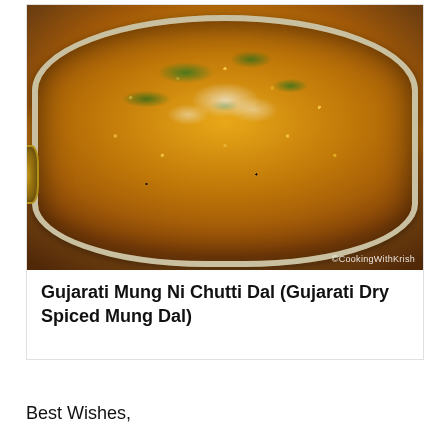[Figure (photo): Overhead photo of a steel kadai/pan filled with Gujarati Mung Ni Chutti Dal — yellow split mung beans garnished with fresh green coriander/cilantro and white grated coconut or spice powder. The pan has a decorative yellow handle visible on the left. Background is a dark stone surface. Copyright watermark reads ©CookingWithKrish.]
Gujarati Mung Ni Chutti Dal (Gujarati Dry Spiced Mung Dal)
Best Wishes,